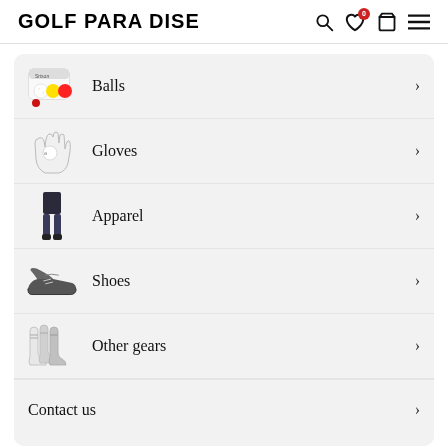GOLF PARADISE
Balls
Gloves
Apparel
Shoes
Other gears
Contact us
More